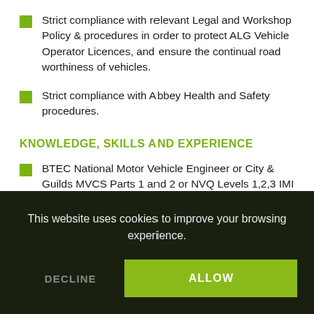Strict compliance with relevant Legal and Workshop Policy & procedures in order to protect ALG Vehicle Operator Licences, and ensure the continual road worthiness of vehicles.
Strict compliance with Abbey Health and Safety procedures.
KNOWLEDGE, SKILLS AND EXPERIENCE
BTEC National Motor Vehicle Engineer or City & Guilds MVCS Parts 1 and 2 or NVQ Levels 1,2,3 IMI Technical Certificate (or equivalent older C&G qualifications)
Qualifications achieved through the Armed Forces...
This website uses cookies to improve your browsing experience.
DECLINE | ALLOW